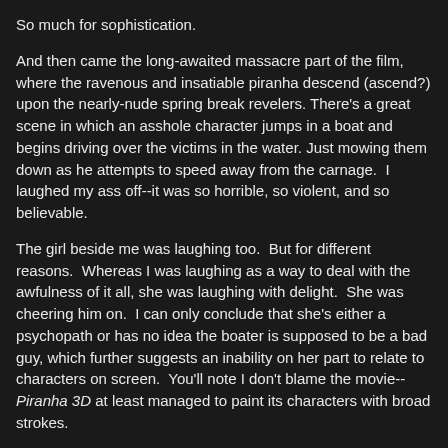So much for sophistication.
And then came the long-awaited massacre part of the film, where the ravenous and insatiable piranha descend (ascend?) upon the nearly-nude spring break revelers. There's a great scene in which an asshole character jumps in a boat and begins driving over the victims in the water. Just mowing them down as he attempts to speed away from the carnage. I laughed my ass off--it was so horrible, so violent, and so believable.
The girl beside me was laughing too. But for different reasons. Whereas I was laughing as a way to deal with the awfulness of it all, she was laughing with delight. She was cheering him on. I can only conclude that she's either a psychopath or has no idea the boater is supposed to be a bad guy, which further suggests an inability on her part to relate to characters on screen. You'll note I don't blame the movie--Piranha 3D at least managed to paint its characters with broad strokes.
I hadn't meant for Piranha 3D to be an experiment in